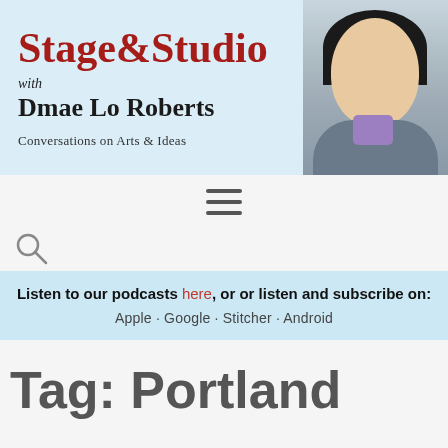[Figure (logo): Stage & Studio with Dmae Lo Roberts podcast banner. Red serif title 'Stage&Studio', with 'with Dmae Lo Roberts' below, 'Conversations on Arts & Ideas' subtitle, and a photo of a woman with dark hair on the right side.]
[Figure (other): Hamburger menu icon (three horizontal lines)]
[Figure (other): Search (magnifying glass) icon]
Listen to our podcasts here, or or listen and subscribe on:
Apple · Google · Stitcher · Android
Tag: Portland